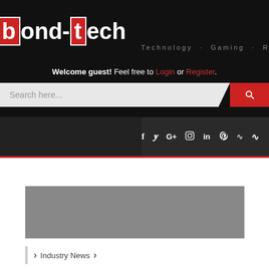[Figure (logo): ond-tech logo with red boxed letters B and T, white text, tagline 'Technology · Gaming · Reviews']
Welcome guest! Feel free to Login or Register.
[Figure (screenshot): Search bar with placeholder 'Search here...' and red search button]
[Figure (infographic): Navigation bar with social icons: Facebook, Twitter, Google+, Instagram, LinkedIn, Steam, RSS]
[Figure (other): Gray banner/advertisement placeholder]
> Industry News >